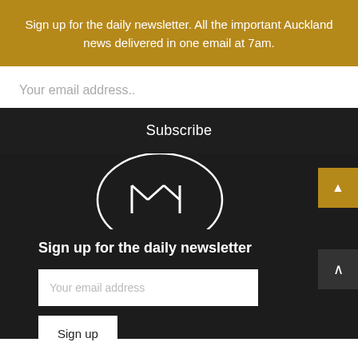Sign up for the daily newsletter. All the important Auckland news delivered in one email at 7am.
Your email address..
Subscribe
[Figure (logo): Circular logo with white border on dark background, partially visible]
Sign up for the daily newsletter
Your email address
Sign up
Click to view our previous newsletters